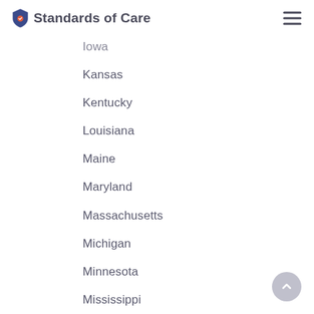Standards of Care
Iowa
Kansas
Kentucky
Louisiana
Maine
Maryland
Massachusetts
Michigan
Minnesota
Mississippi
Missouri
Montana
Nebraska